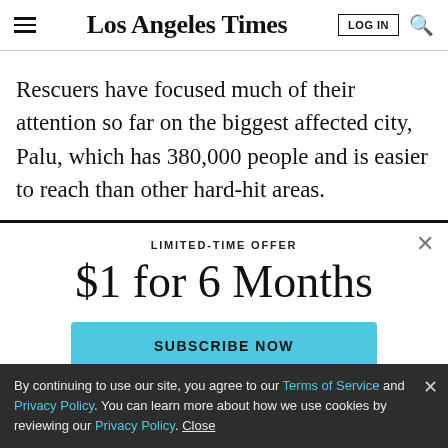Los Angeles Times
Rescuers have focused much of their attention so far on the biggest affected city, Palu, which has 380,000 people and is easier to reach than other hard-hit areas.
LIMITED-TIME OFFER
$1 for 6 Months
SUBSCRIBE NOW
By continuing to use our site, you agree to our Terms of Service and Privacy Policy. You can learn more about how we use cookies by reviewing our Privacy Policy. Close